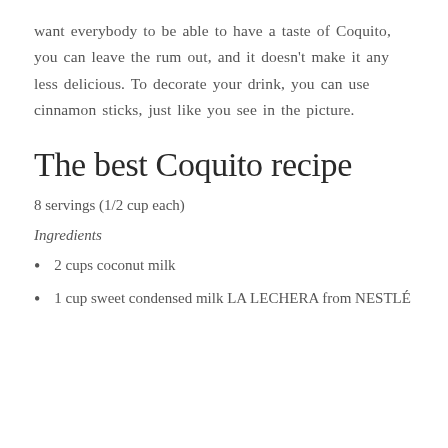want everybody to be able to have a taste of Coquito, you can leave the rum out, and it doesn't make it any less delicious. To decorate your drink, you can use cinnamon sticks, just like you see in the picture.
The best Coquito recipe
8 servings (1/2 cup each)
Ingredients
2 cups coconut milk
1 cup sweet condensed milk LA LECHERA from NESTLÉ